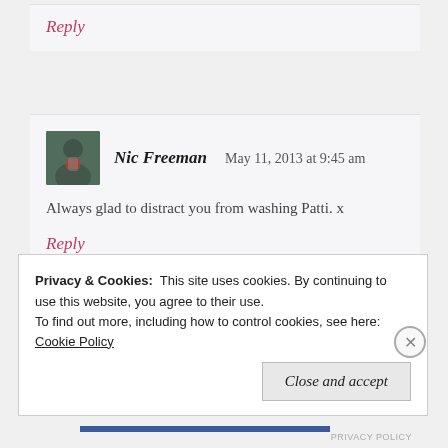Reply
Nic Freeman   May 11, 2013 at 9:45 am
Always glad to distract you from washing Patti. x
Reply
Privacy & Cookies:  This site uses cookies. By continuing to use this website, you agree to their use.
To find out more, including how to control cookies, see here: Cookie Policy
Close and accept